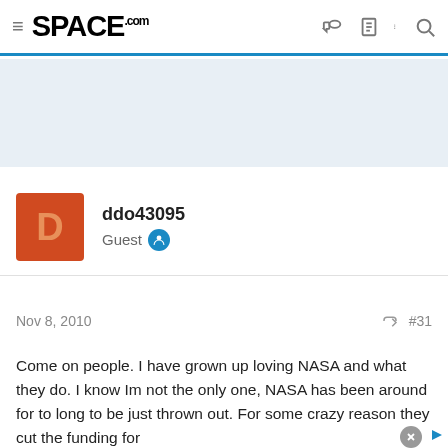SPACE.com
[Figure (other): Light blue/gray advertisement placeholder area]
ddo43095
Guest
Nov 8, 2010  #31
Come on people. I have grown up loving NASA and what they do. I know Im not the only one, NASA has been around for to long to be just thrown out. For some crazy reason they cut the funding for
[Figure (other): Advertisement banner: Experience More. Innovate oncology with us. EXELIXIS View jobs]